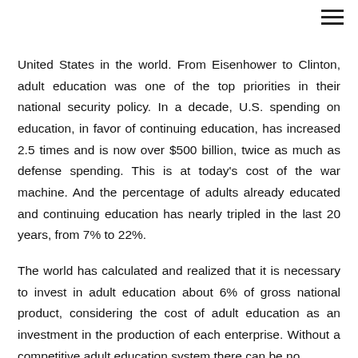≡
United States in the world. From Eisenhower to Clinton, adult education was one of the top priorities in their national security policy. In a decade, U.S. spending on education, in favor of continuing education, has increased 2.5 times and is now over $500 billion, twice as much as defense spending. This is at today's cost of the war machine. And the percentage of adults already educated and continuing education has nearly tripled in the last 20 years, from 7% to 22%.
The world has calculated and realized that it is necessary to invest in adult education about 6% of gross national product, considering the cost of adult education as an investment in the production of each enterprise. Without a competitive adult education system there can be no